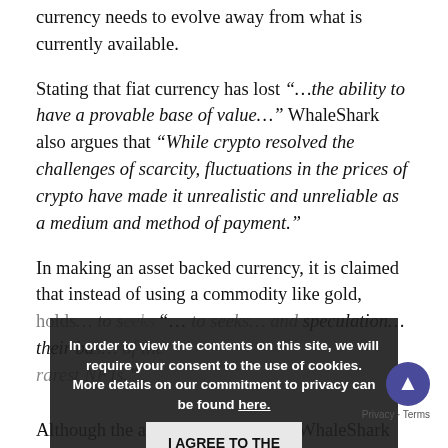currency needs to evolve away from what is currently available.
Stating that fiat currency has lost “…the ability to have a provable base of value…” WhaleShark also argues that “While crypto resolved the challenges of scarcity, fluctuations in the prices of crypto have made it unrealistic and unreliable as a medium and method of payment.”
In making an asset backed currency, it is claimed that instead of using a commodity like gold, holds… to seek… and speculation… their bas… of the rarest NFTs.”
[Figure (other): Cookie consent overlay banner with dark background. Text reads: 'In order to view the contents on this site, we will require your consent to the use of cookies. More details on our commitment to privacy can be found here.' Button: 'I AGREE TO THE USE OF COOKIES'. Scroll-to-top button (blue circle with up arrow) and 'Privacy · Terms' footer visible.]
Although the anonymous nature of WhaleShark